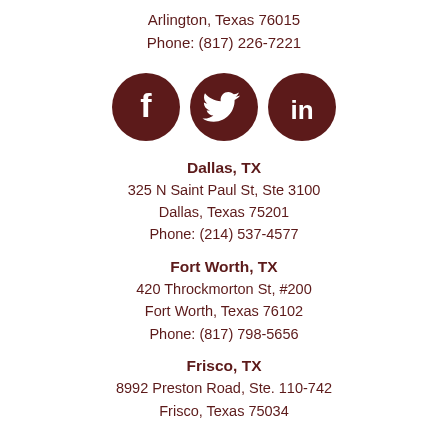Arlington, Texas 76015
Phone: (817) 226-7221
[Figure (illustration): Three dark brown circular social media icons: Facebook (f), Twitter (bird), LinkedIn (in)]
Dallas, TX
325 N Saint Paul St, Ste 3100
Dallas, Texas 75201
Phone: (214) 537-4577
Fort Worth, TX
420 Throckmorton St, #200
Fort Worth, Texas 76102
Phone: (817) 798-5656
Frisco, TX
8992 Preston Road, Ste. 110-742
Frisco, Texas 75034